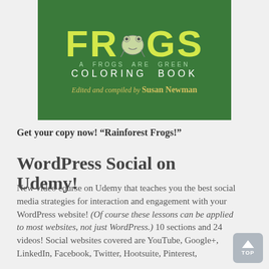[Figure (illustration): Book cover for 'Rainforest Frogs: A Frogs Are Green Coloring Book' edited and compiled by Susan Newman. Green background with yellow-green large text 'FROGS', small frog illustration in center, subtitle 'A FROGS ARE GREEN COLORING BOOK', author credit in italic gold text.]
Get your copy now! “Rainforest Frogs!”
WordPress Social on Udemy!
New video course on Udemy that teaches you the best social media strategies for interaction and engagement with your WordPress website! (Of course these lessons can be applied to most websites, not just WordPress.) 10 sections and 24 videos! Social websites covered are YouTube, Google+, LinkedIn, Facebook, Twitter, Hootsuite, Pinterest,